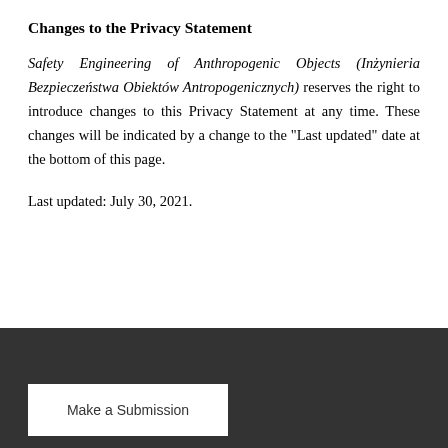Changes to the Privacy Statement
Safety Engineering of Anthropogenic Objects (Inżynieria Bezpieczeństwa Obiektów Antropogenicznych) reserves the right to introduce changes to this Privacy Statement at any time. These changes will be indicated by a change to the "Last updated" date at the bottom of this page.
Last updated: July 30, 2021.
Make a Submission